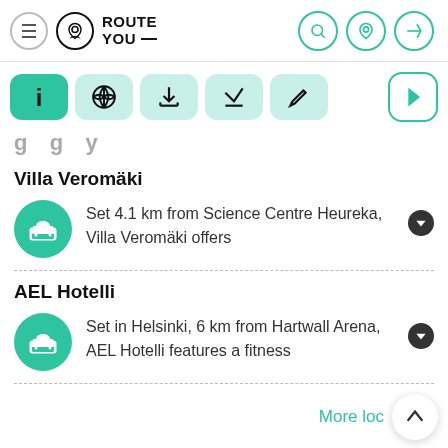RouteYou
g g y (partial, clipped)
Villa Veromäki
Set 4.1 km from Science Centre Heureka, Villa Veromäki offers
AEL Hotelli
Set in Helsinki, 6 km from Hartwall Arena, AEL Hotelli features a fitness
More loc